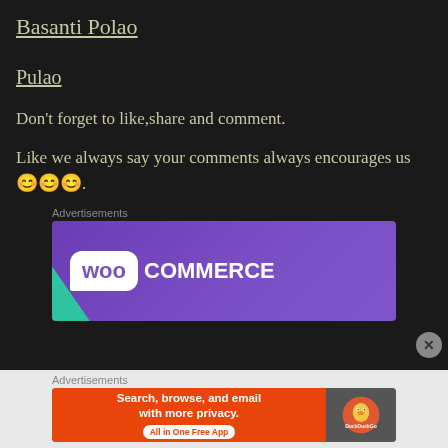Basanti Polao
Pulao
Don't forget to like,share and comment.
Like we always say your comments always encourages us 😊😊😊.
Advertisements
[Figure (screenshot): WooCommerce advertisement banner with purple gradient background and teal corner accent]
Advertisements
[Figure (screenshot): DuckDuckGo advertisement banner: Search, browse, and email with more privacy. All in One Free App]